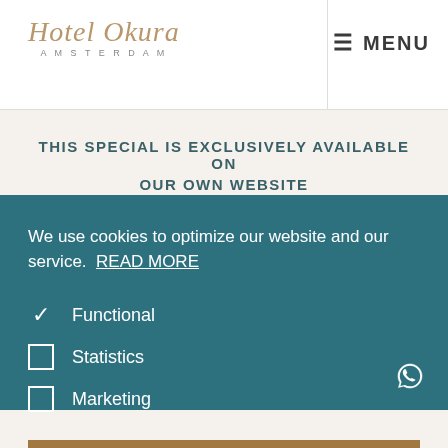[Figure (logo): Hotel Okura Amsterdam logo in gold italic script with AMSTERDAM in small caps below]
≡ MENU
THIS SPECIAL IS EXCLUSIVELY AVAILABLE ON OUR OWN WEBSITE
We use cookies to optimize our website and our service. READ MORE
✓ Functional
☐ Statistics
☐ Marketing
ACCEPT ALL
SAVE PREFERENCES